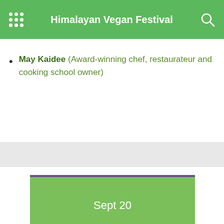Himalayan Vegan Festival
May Kaidee (Award-winning chef, restaurateur and cooking school owner)
Sept 20
01:40pm –
02:20pm